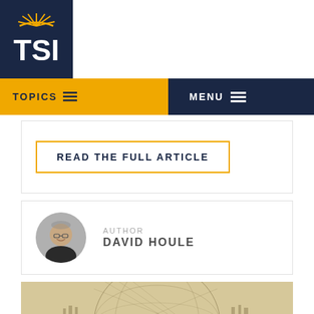[Figure (logo): TSI logo with sun graphic on dark navy background]
TOPICS   MENU
READ THE FULL ARTICLE
AUTHOR DAVID HOULE
[Figure (illustration): Vintage engraving or sketch of a geodesic sphere/globe structure with architectural cityscape elements]